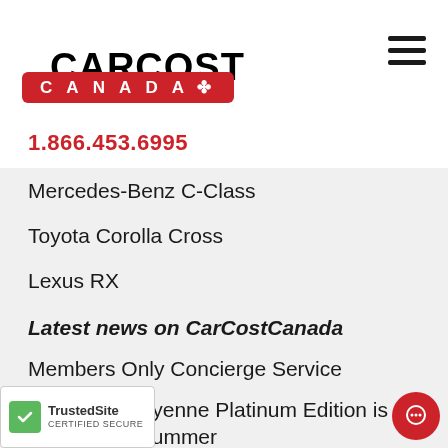[Figure (logo): CarCost Canada logo with red Canada badge and maple leaf]
1.866.453.6995
Mercedes-Benz C-Class
Toyota Corolla Cross
Lexus RX
Latest news on CarCostCanada
Members Only Concierge Service
Porsche's Cayenne Platinum Edition is arriving this summer
Service de Conciergerie Réservé Aux Membres
Conditions Actuelles du Marché Automobile
Porsche introduces performance-focused 2023 Macan T to Canadian market
Nissan USA to produce two entirely new EVs in Canton, Mississippi
Porsche shows off new 963 LMDh-spec race car at Goodwood Festival of Speed
Alfa Romeo Tonale promises to spice up subcompact